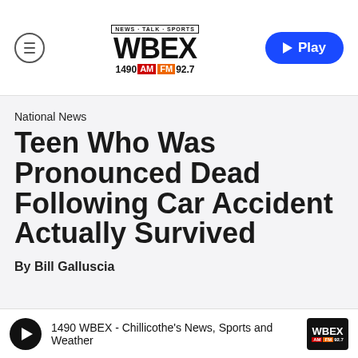[Figure (logo): WBEX 1490 AM FM 92.7 News Talk Sports radio station logo]
National News
Teen Who Was Pronounced Dead Following Car Accident Actually Survived
By Bill Galluscia
1490 WBEX - Chillicothe's News, Sports and Weather